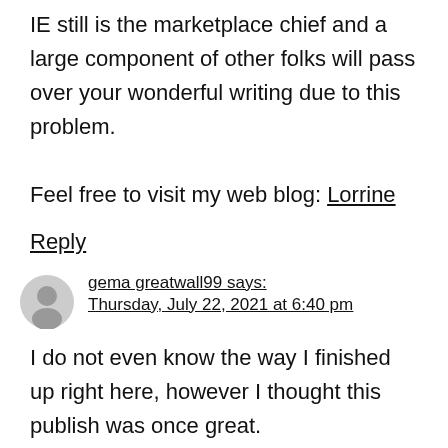IE still is the marketplace chief and a large component of other folks will pass over your wonderful writing due to this problem.
Feel free to visit my web blog: Lorrine
Reply
gema greatwall99 says: Thursday, July 22, 2021 at 6:40 pm
I do not even know the way I finished up right here, however I thought this publish was once great.
I don't know who you are however certainly